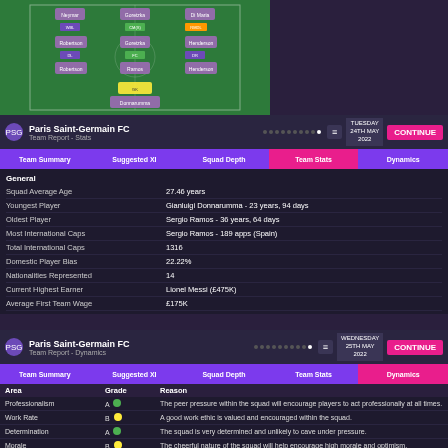[Figure (screenshot): Football Manager tactical formation view showing PSG lineup on a green pitch]
|  |  |
| --- | --- |
| Team Summary | Suggested XI | Squad Depth | Team Stats | Dynamics |
| General |  |
| Squad Average Age | 27.46 years |
| Youngest Player | Gianluigi Donnarumma - 23 years, 94 days |
| Oldest Player | Sergio Ramos - 36 years, 64 days |
| Most International Caps | Sergio Ramos - 189 apps (Spain) |
| Total International Caps | 1316 |
| Domestic Player Bias | 22.22% |
| Nationalities Represented | 14 |
| Current Highest Earner | Lionel Messi (£475K) |
| Average First Team Wage | £175K |
| Area | Grade | Reason |
| --- | --- | --- |
| Professionalism | A | The peer pressure within the squad will encourage players to act professionally at all times. |
| Work Rate | B | A good work ethic is valued and encouraged within the squad. |
| Determination | A | The squad is very determined and unlikely to cave under pressure. |
| Morale | B | The cheerful nature of the squad will help encourage high morale and optimism. |
| Loyalty | F | The senior players within the club are very ambitious. |
Effect(s)
Improved professionalism from players
Improved work rate during matches
Improved determination during matches
Improved resiliency within squad